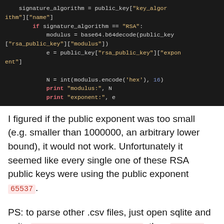[Figure (screenshot): Dark-background code block showing Python code for extracting RSA public key fields: signature_algorithm, modulus, exponent, and printing them.]
I figured if the public exponent was too small (e.g. smaller than 1000000, an arbitrary lower bound), it would not work. Unfortunately it seemed like every single one of these RSA public keys were using the public exponent 65537.
PS: to parse other .csv files, just open sqlite and write .import the_file.csv tab, then .schema tab or any SQL query on tab will work ;)